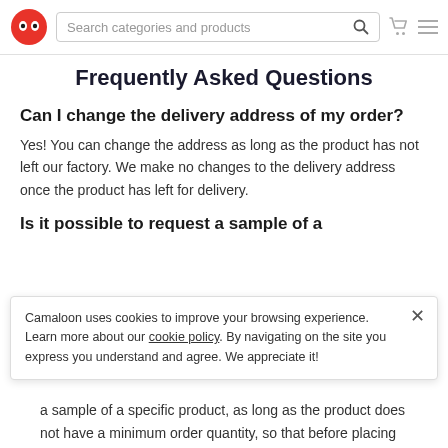Search categories and products [nav bar with logo, search, cart, menu]
Frequently Asked Questions
Can I change the delivery address of my order?
Yes! You can change the address as long as the product has not left our factory. We make no changes to the delivery address once the product has left for delivery.
Is it possible to request a sample of a
Camaloon uses cookies to improve your browsing experience. Learn more about our cookie policy. By navigating on the site you express you understand and agree. We appreciate it!
a sample of a specific product, as long as the product does not have a minimum order quantity, so that before placing